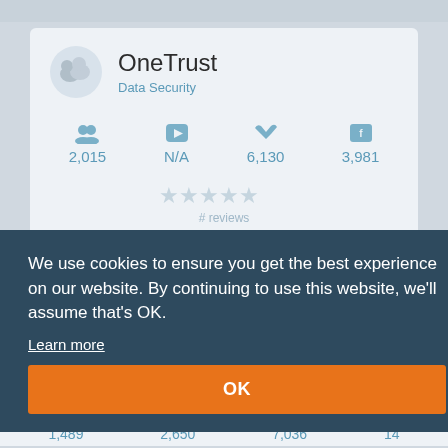OneTrust
Data Security
2,015
N/A
6,130
3,981
We use cookies to ensure you get the best experience on our website. By continuing to use this website, we'll assume that's OK.
Learn more
OK
Tanium
1,489
2,650
7,036
14